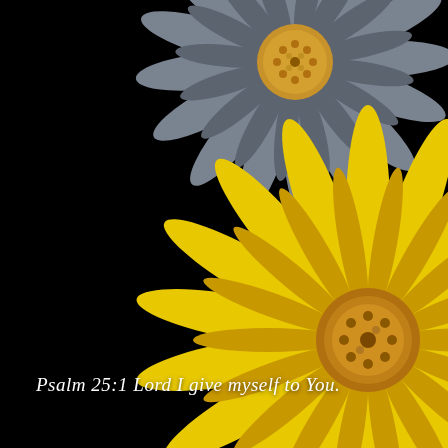[Figure (illustration): Black background with two large daisy/sunflower blooms in the upper-right corner. One flower is gray/silver with a golden center, partially visible at top-center and extending right. The second, larger flower is bright yellow with a golden-orange center, positioned at the right side spanning from mid-page to lower-right corner. Both flowers have long, narrow petals typical of sunflowers or African daisies.]
Psalm 25:1 Lord I give myself to You.